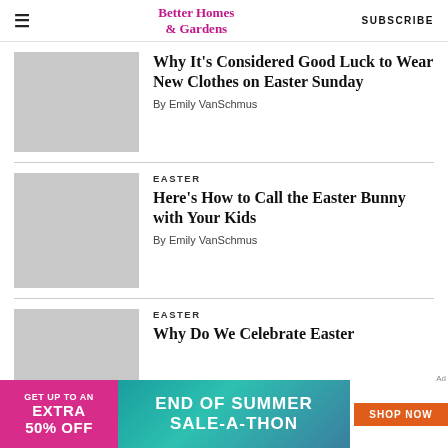Better Homes & Gardens | SUBSCRIBE
Why It's Considered Good Luck to Wear New Clothes on Easter Sunday
By Emily VanSchmus
EASTER
Here's How to Call the Easter Bunny with Your Kids
By Emily VanSchmus
EASTER
Why Do We Celebrate Easter
[Figure (other): Advertisement banner: GET UP TO AN EXTRA 50% OFF | END OF SUMMER SALE-A-THON | SHOP NOW]